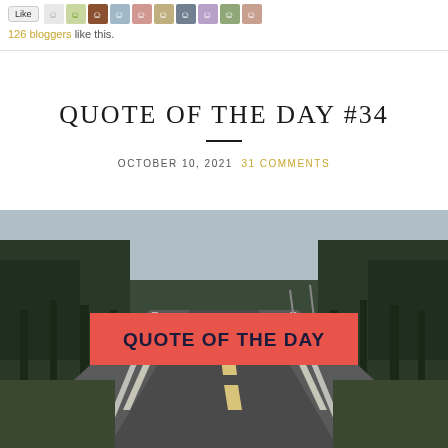126 bloggers like this.
QUOTE OF THE DAY #34
OCTOBER 10, 2021  31 COMMENTS
[Figure (photo): A road stretching into the distance flanked by tall trees on both sides under a grey sky, with a red/coral banner overlay reading 'QUOTE OF THE DAY' in bold dark uppercase letters.]